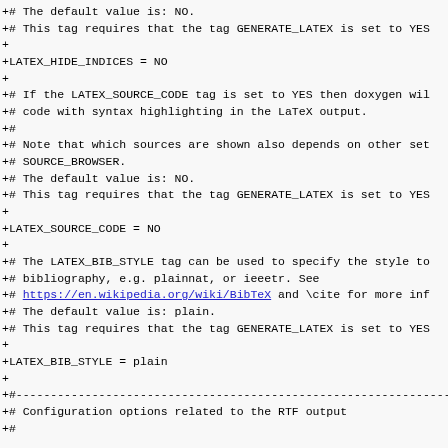+# The default value is: NO.
+# This tag requires that the tag GENERATE_LATEX is set to YES
+
+LATEX_HIDE_INDICES       = NO
+
+# If the LATEX_SOURCE_CODE tag is set to YES then doxygen wil
+# code with syntax highlighting in the LaTeX output.
+#
+# Note that which sources are shown also depends on other set
+# SOURCE_BROWSER.
+# The default value is: NO.
+# This tag requires that the tag GENERATE_LATEX is set to YES
+
+LATEX_SOURCE_CODE        = NO
+
+# The LATEX_BIB_STYLE tag can be used to specify the style to
+# bibliography, e.g. plainnat, or ieeetr. See
+# https://en.wikipedia.org/wiki/BibTeX and \cite for more inf
+# The default value is: plain.
+# This tag requires that the tag GENERATE_LATEX is set to YES
+
+LATEX_BIB_STYLE          = plain
+
+#-----------------------------------------------------------
+# Configuration options related to the RTF output
+#